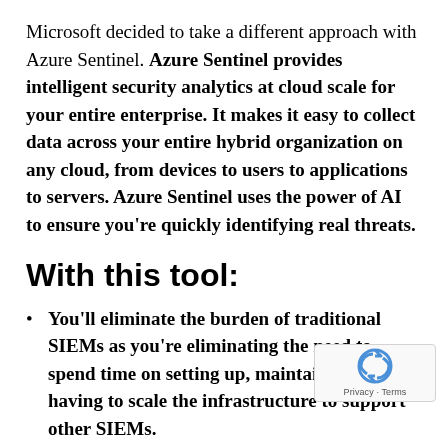Microsoft decided to take a different approach with Azure Sentinel. Azure Sentinel provides intelligent security analytics at cloud scale for your entire enterprise. It makes it easy to collect data across your entire hybrid organization on any cloud, from devices to users to applications to servers. Azure Sentinel uses the power of AI to ensure you're quickly identifying real threats.
With this tool:
You'll eliminate the burden of traditional SIEMs as you're eliminating the need to spend time on setting up, maintaining and having to scale the infrastructure to support other SIEMs.
Since it's built on Azure, it offers virtually limitless cloud scale while addressing all your security needs.
Now let's talk cost. Traditional SIEMs have proven to be expensive to own and operate, often requiring you to commit